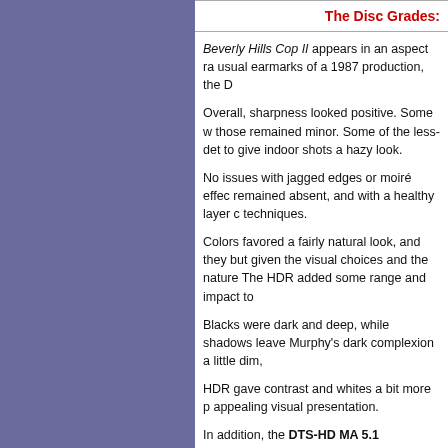The Disc Grades:
Beverly Hills Cop II appears in an aspect ra usual earmarks of a 1987 production, the D
Overall, sharpness looked positive. Some w those remained minor. Some of the less-det to give indoor shots a hazy look.
No issues with jagged edges or moiré effec remained absent, and with a healthy layer c techniques.
Colors favored a fairly natural look, and they but given the visual choices and the nature The HDR added some range and impact to
Blacks were dark and deep, while shadows leave Murphy's dark complexion a little dim,
HDR gave contrast and whites a bit more p appealing visual presentation.
In addition, the DTS-HD MA 5.1 soundtrack As was the case for the original, the audio r channels.
In that domain, music showed reasonable s the spectrum. Those elements moved acros